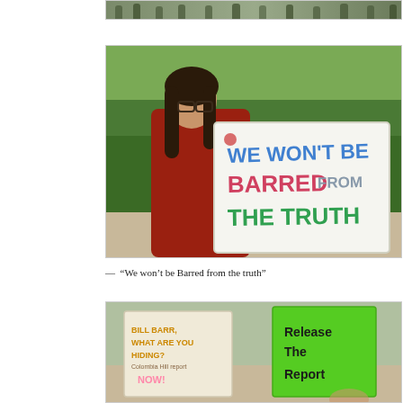[Figure (photo): Partial top view of a protest crowd with signs outside a building]
[Figure (photo): Woman with glasses and long brown hair holding a large white sign that reads 'WE WON'T BE BARRED FROM THE TRUTH' in colorful letters, standing on grass]
— “We won’t be Barred from the truth”
[Figure (photo): Two protest signs visible: one white sign reading 'BILL BARR, WHAT ARE YOU HIDING? Colombia Hill report NOW!' and one bright green sign reading 'Release The Report']